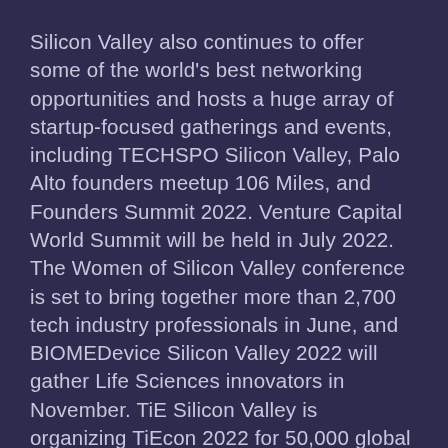Silicon Valley also continues to offer some of the world's best networking opportunities and hosts a huge array of startup-focused gatherings and events, including TECHSPO Silicon Valley, Palo Alto founders meetup 106 Miles, and Founders Summit 2022. Venture Capital World Summit will be held in July 2022. The Women of Silicon Valley conference is set to bring together more than 2,700 tech industry professionals in June, and BIOMEDevice Silicon Valley 2022 will gather Life Sciences innovators in November. TiE Silicon Valley is organizing TiEcon 2022 for 50,000 global attendees in May.
Silicon Valley produces a steady stream of huge funding deals. Recent rounds include online learning platform Course Hero's $380 million Series C in December 2021, customer experience assurance platform $350 million private equity round in January